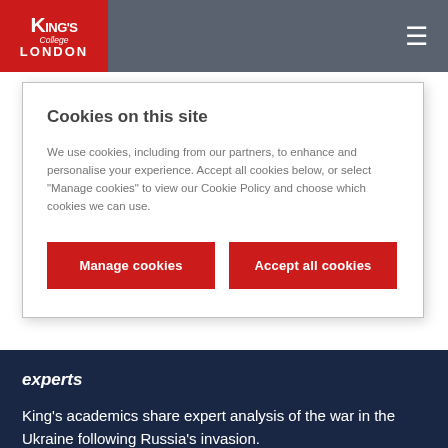[Figure (logo): King's College London logo in red box]
Cookies on this site
We use cookies, including from our partners, to enhance and personalise your experience. Accept all cookies below, or select "Manage cookies" to view our Cookie Policy and choose which cookies we can use.
Manage cookies
Accept all cookies
experts
King's academics share expert analysis of the war in the Ukraine following Russia's invasion.
International